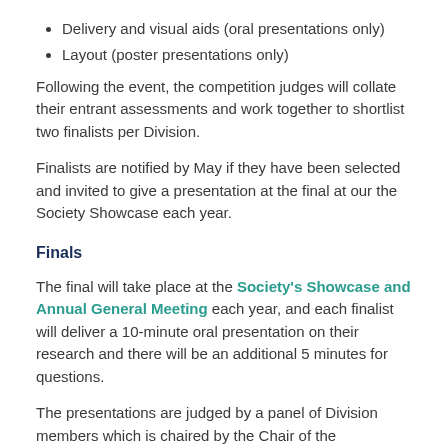Delivery and visual aids (oral presentations only)
Layout (poster presentations only)
Following the event, the competition judges will collate their entrant assessments and work together to shortlist two finalists per Division.
Finalists are notified by May if they have been selected and invited to give a presentation at the final at our the Society Showcase each year.
Finals
The final will take place at the Society's Showcase and Annual General Meeting each year, and each finalist will deliver a 10-minute oral presentation on their research and there will be an additional 5 minutes for questions.
The presentations are judged by a panel of Division members which is chaired by the Chair of the Sustainability Committee. The presentation judging criteria can be found in the document below.